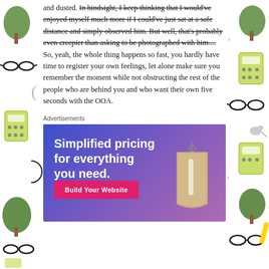and dusted. In hindsight, I keep thinking that I would've enjoyed myself much more if I could've just sat at a safe distance and simply observed him. But well, that's probably even creepier than asking to be photographed with him.... So, yeah, the whole thing happens so fast, you hardly have time to register your own feelings, let alone make sure you remember the moment while not obstructing the rest of the people who are behind you and who want their own five seconds with the OOA.
Advertisements
[Figure (infographic): Advertisement banner with gradient blue-to-purple background. Headline text: 'Simplified pricing for everything you need.' Pink button: 'Build Your Website'. Price tag illustration on the right side.]